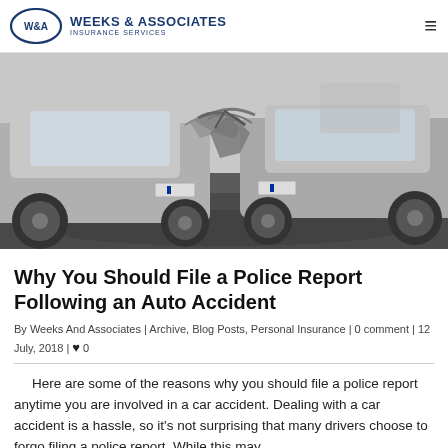Weeks & Associates Insurance Services
[Figure (photo): Two silver cars in a head-on collision on a wet road, with heavily damaged front ends crumpled together.]
Why You Should File a Police Report Following an Auto Accident
By Weeks And Associates | Archive, Blog Posts, Personal Insurance | 0 comment | 12 July, 2018 | ♥ 0
Here are some of the reasons why you should file a police report anytime you are involved in a car accident. Dealing with a car accident is a hassle, so it's not surprising that many drivers choose to forgo filing a police report. While this may